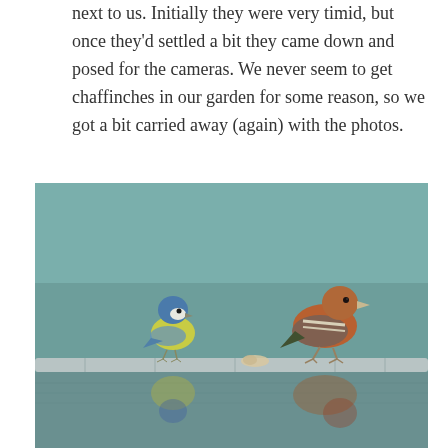next to us. Initially they were very timid, but once they'd settled a bit they came down and posed for the cameras. We never seem to get chaffinches in our garden for some reason, so we got a bit carried away (again) with the photos.
[Figure (photo): A blue tit and a chaffinch perched on a log at the edge of water, with their reflections visible in the still water below. The background is a muted teal-grey color.]